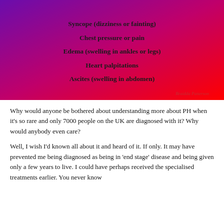[Figure (infographic): Gradient background (purple to red) listing PH symptoms: Syncope (dizziness or fainting), Chest pressure or pain, Edema (swelling in ankles or legs), Heart palpitations, Ascites (swelling in abdomen). Watermark text at bottom.]
Why would anyone be bothered about understanding more about PH when it's so rare and only 7000 people on the UK are diagnosed with it? Why would anybody even care?
Well, I wish I'd known all about it and heard of it. If only. It may have prevented me being diagnosed as being in 'end stage' disease and being given only a few years to live. I could have perhaps received the specialised treatments earlier. You never know